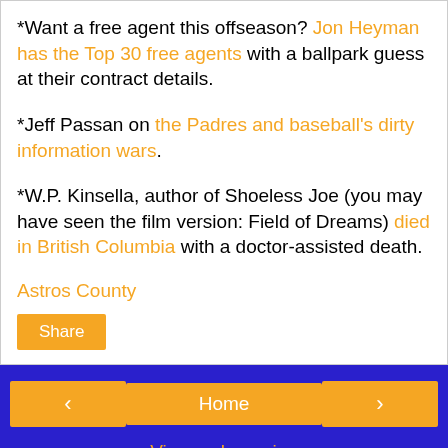*Want a free agent this offseason? Jon Heyman has the Top 30 free agents with a ballpark guess at their contract details.
*Jeff Passan on the Padres and baseball's dirty information wars.
*W.P. Kinsella, author of Shoeless Joe (you may have seen the film version: Field of Dreams) died in British Columbia with a doctor-assisted death.
Astros County
Share
Home | View web version | Powered by Blogger.